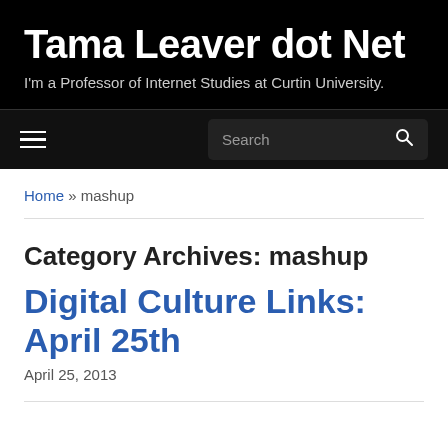Tama Leaver dot Net
I'm a Professor of Internet Studies at Curtin University.
≡  Search 🔍
Home » mashup
Category Archives: mashup
Digital Culture Links: April 25th
April 25, 2013